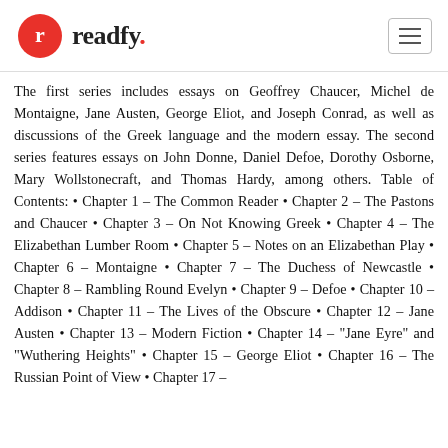readfy.
The first series includes essays on Geoffrey Chaucer, Michel de Montaigne, Jane Austen, George Eliot, and Joseph Conrad, as well as discussions of the Greek language and the modern essay. The second series features essays on John Donne, Daniel Defoe, Dorothy Osborne, Mary Wollstonecraft, and Thomas Hardy, among others. Table of Contents: • Chapter 1 – The Common Reader • Chapter 2 – The Pastons and Chaucer • Chapter 3 – On Not Knowing Greek • Chapter 4 – The Elizabethan Lumber Room • Chapter 5 – Notes on an Elizabethan Play • Chapter 6 – Montaigne • Chapter 7 – The Duchess of Newcastle • Chapter 8 – Rambling Round Evelyn • Chapter 9 – Defoe • Chapter 10 – Addison • Chapter 11 – The Lives of the Obscure • Chapter 12 – Jane Austen • Chapter 13 – Modern Fiction • Chapter 14 – "Jane Eyre" and "Wuthering Heights" • Chapter 15 – George Eliot • Chapter 16 – The Russian Point of View • Chapter 17 –